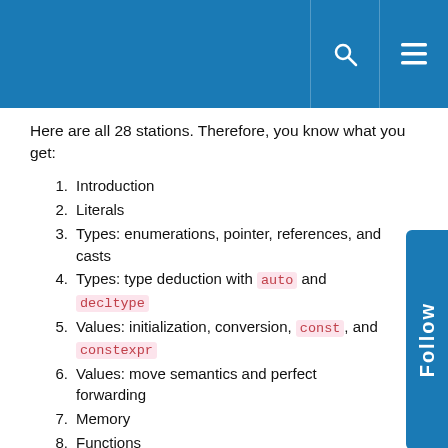Here are all 28 stations. Therefore, you know what you get:
1. Introduction
2. Literals
3. Types: enumerations, pointer, references, and casts
4. Types: type deduction with auto and decltype
5. Values: initialization, conversion, const, and constexpr
6. Values: move semantics and perfect forwarding
7. Memory
8. Functions
9. Classes: attributes and constructors
10. Classes: initialization, destructors, and member functions
11. Classes: default, and delete, operator overloading, explicit, access rights, friends, and structs
12. Inheritance: abstract base classes, access rights, constructors, base class initializers
13. Inheritance: destructor, virtuality, override, and final, and multiple inheritances
14. Templates: functions and classes
15. Templates: parameters and arguments